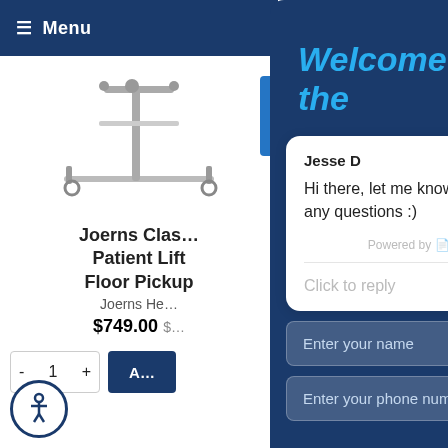≡ Menu
[Figure (photo): Patient lift product image showing Joerns Classic Patient Lift with floor pickup base and wheels]
Joerns Clas… Patient Lift Floor Pickup
Joerns He…
$749.00 $…
- 1 + A…
Welcome to the
Jesse D
Hi there, let me know if you have any questions :)
Powered by gorgias
Click to reply
Enter your name
Enter your phone number